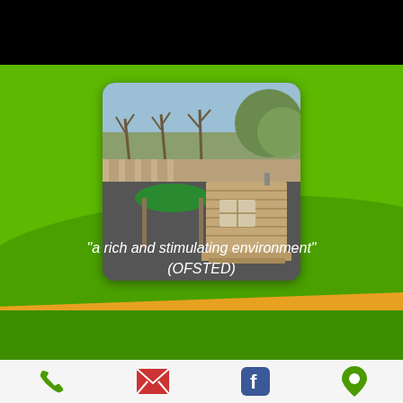[Figure (photo): Top black banner area of a school/nursery website]
[Figure (photo): Outdoor playground area showing a wooden playhouse/cabin with a green canopy shelter, surrounded by trees, set in a nursery school garden]
"a rich and stimulating environment" (OFSTED)
[Figure (infographic): Footer navigation bar with four icons: phone (green), email/envelope (red/pink), Facebook (blue), location pin (green)]